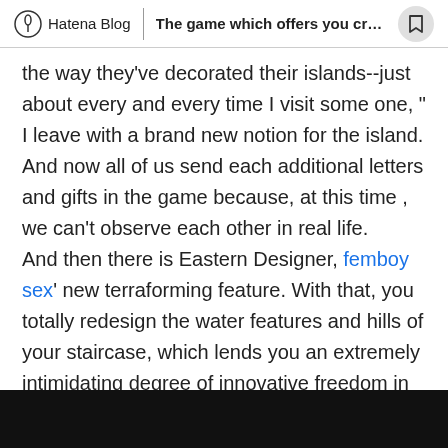Hatena Blog | The game which offers you creativ...
the way they've decorated their islands--just about every and every time I visit some one, " I leave with a brand new notion for the island. And now all of us send each additional letters and gifts in the game because, at this time , we can't observe each other in real life.
And then there is Eastern Designer, femboy sex' new terraforming feature. With that, you totally redesign the water features and hills of your staircase, which lends you an extremely intimidating degree of innovative freedom in your island layout. The equipment for both waterscape and cliff construction really are a little challenging to use and grasp as it can be really hard to